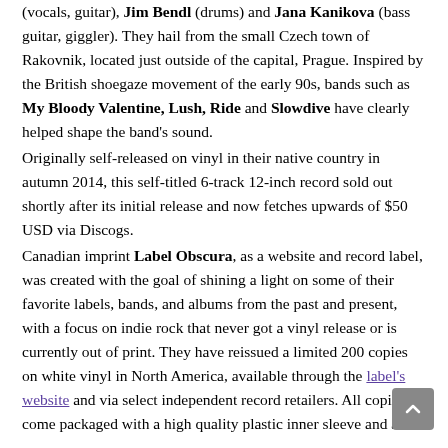(vocals, guitar), Jim Bendl (drums) and Jana Kanikova (bass guitar, giggler). They hail from the small Czech town of Rakovnik, located just outside of the capital, Prague. Inspired by the British shoegaze movement of the early 90s, bands such as My Bloody Valentine, Lush, Ride and Slowdive have clearly helped shape the band's sound.

Originally self-released on vinyl in their native country in autumn 2014, this self-titled 6-track 12-inch record sold out shortly after its initial release and now fetches upwards of $50 USD via Discogs.

Canadian imprint Label Obscura, as a website and record label, was created with the goal of shining a light on some of their favorite labels, bands, and albums from the past and present, with a focus on indie rock that never got a vinyl release or is currently out of print. They have reissued a limited 200 copies on white vinyl in North America, available through the label's website and via select independent record retailers. All copies come packaged with a high quality plastic inner sleeve and a